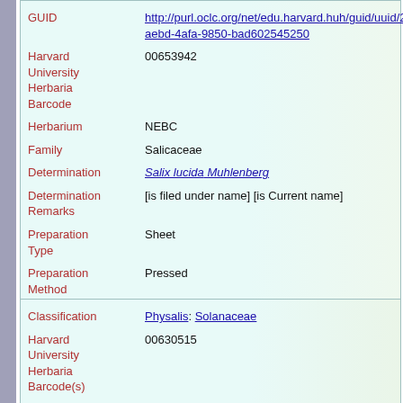| GUID | http://purl.oclc.org/net/edu.harvard.huh/guid/uuid/2c0aebd-4afa-9850-bad602545250 |
| Harvard University Herbaria Barcode | 00653942 |
| Herbarium | NEBC |
| Family | Salicaceae |
| Determination | Salix lucida Muhlenberg |
| Determination Remarks | [is filed under name] [is Current name] |
| Preparation Type | Sheet |
| Preparation Method | Pressed |
| Classification | Physalis: Solanaceae |
| Harvard University Herbaria Barcode(s) | 00630515 |